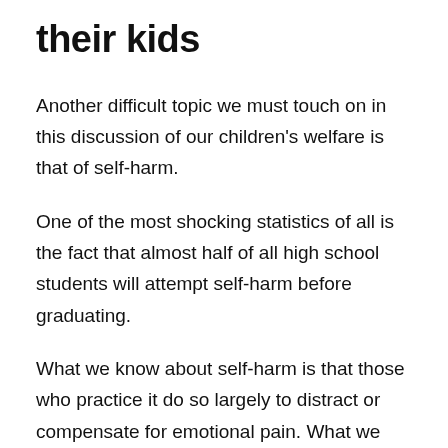their kids
Another difficult topic we must touch on in this discussion of our children's welfare is that of self-harm.
One of the most shocking statistics of all is the fact that almost half of all high school students will attempt self-harm before graduating.
What we know about self-harm is that those who practice it do so largely to distract or compensate for emotional pain. What we don't know, however, is how to properly help those of our children that engage in self-harm to seek